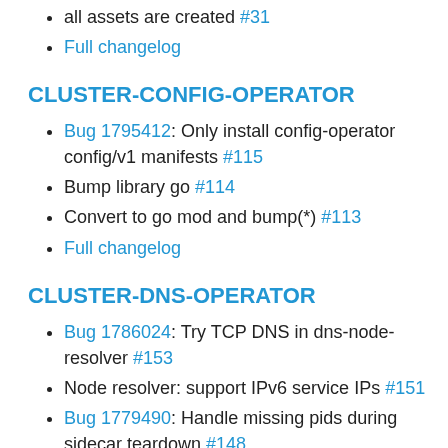all assets are created #31
Full changelog
CLUSTER-CONFIG-OPERATOR
Bug 1795412: Only install config-operator config/v1 manifests #115
Bump library go #114
Convert to go mod and bump(*) #113
Full changelog
CLUSTER-DNS-OPERATOR
Bug 1786024: Try TCP DNS in dns-node-resolver #153
Node resolver: support IPv6 service IPs #151
Bug 1779490: Handle missing pids during sidecar teardown #148
Bug 1778529: daemonsetConfigChanged: Check